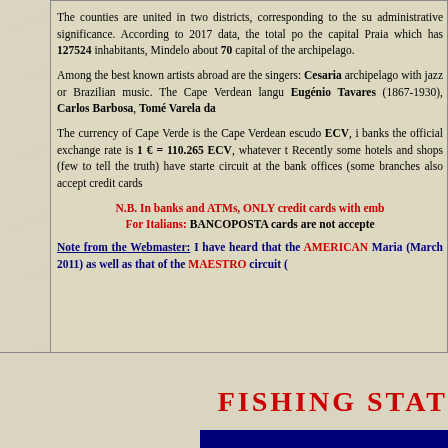The counties are united in two districts, corresponding to the su administrative significance. According to 2017 data, the total po the capital Praia which has 127524 inhabitants, Mindelo about 70 capital of the archipelago.
Among the best known artists abroad are the singers: Cesaria archipelago with jazz or Brazilian music. The Cape Verdean langu Eugénio Tavares (1867-1930), Carlos Barbosa, Tomé Varela da
The currency of Cape Verde is the Cape Verdean escudo ECV, i banks the official exchange rate is 1 € = 110.265 ECV, whatever t Recently some hotels and shops (few to tell the truth) have started circuit at the bank offices (some branches also accept credit cards
N.B. In banks and ATMs, ONLY credit cards with emb For Italians: BANCOPOSTA cards are not accepte
Note from the Webmaster: I have heard that the AMERICAN Maria (March 2011) as well as that of the MAESTRO circuit (
FISHING STAT